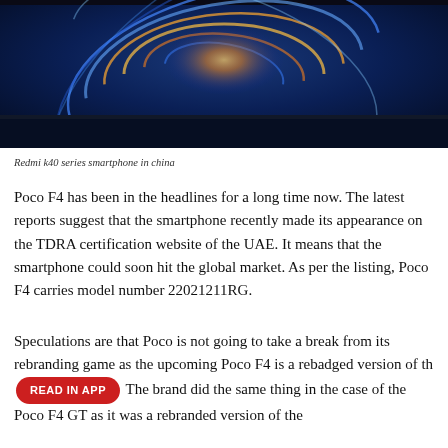[Figure (photo): Redmi k40 series smartphone showing glowing swirl display screen with blue and orange light streaks on dark background]
Redmi k40 series smartphone in china
Poco F4 has been in the headlines for a long time now. The latest reports suggest that the smartphone recently made its appearance on the TDRA certification website of the UAE. It means that the smartphone could soon hit the global market. As per the listing, Poco F4 carries model number 22021211RG.
Speculations are that Poco is not going to take a break from its rebranding game as the upcoming Poco F4 is a rebadged version of th [READ IN APP] The brand did the same thing in the case of the Poco F4 GT as it was a rebranded version of the